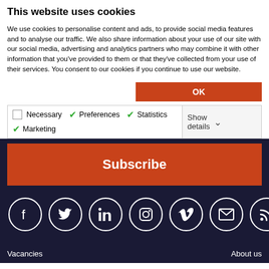This website uses cookies
We use cookies to personalise content and ads, to provide social media features and to analyse our traffic. We also share information about your use of our site with our social media, advertising and analytics partners who may combine it with other information that you've provided to them or that they've collected from your use of their services. You consent to our cookies if you continue to use our website.
OK
Necessary  Preferences  Statistics  Marketing  Show details
Subscribe
[Figure (infographic): Social media icon buttons: Facebook, Twitter, LinkedIn, Instagram, Vimeo, Email, RSS]
Vacancies    About us